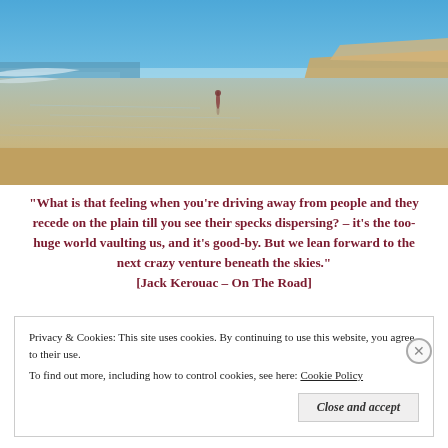[Figure (photo): A wide beach scene with shallow water reflecting a blue sky. A lone figure stands in the distance on the flat wet sand. Sandy dunes are visible in the background on the right side.]
“What is that feeling when you’re driving away from people and they recede on the plain till you see their specks dispersing? – it’s the too-huge world vaulting us, and it’s good-by. But we lean forward to the next crazy venture beneath the skies.” [Jack Kerouac – On The Road]
Privacy & Cookies: This site uses cookies. By continuing to use this website, you agree to their use.
To find out more, including how to control cookies, see here: Cookie Policy